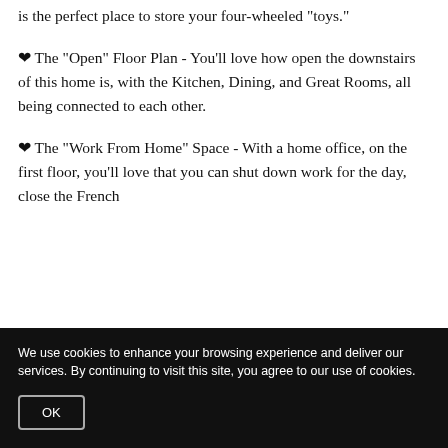is the perfect place to store your four-wheeled "toys."
♥ The "Open" Floor Plan - You'll love how open the downstairs of this home is, with the Kitchen, Dining, and Great Rooms, all being connected to each other.
♥ The "Work From Home" Space - With a home office, on the first floor, you'll love that you can shut down work for the day, close the French
We use cookies to enhance your browsing experience and deliver our services. By continuing to visit this site, you agree to our use of cookies.
OK